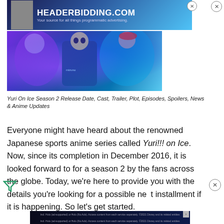[Figure (screenshot): HEADERBIDDING.COM advertisement banner with dark blue gradient background and person avatar on left]
[Figure (illustration): Anime illustration from Yuri on Ice showing characters in blue and purple tones]
Yuri On Ice Season 2 Release Date, Cast, Trailer, Plot, Episodes, Spoilers, News & Anime Updates
Everyone might have heard about the renowned Japanese sports anime series called Yuri!!! on Ice. Now, since its completion in December 2016, it is looked forward to for a season 2 by the fans across the globe. Today, we're here to provide you with the details you're looking for a possible next installment if it is happening. So let's get started.
[Figure (screenshot): Disney Bundle advertisement with Hulu, Disney+, ESPN+ logos and GET THE DISNEY BUNDLE button]